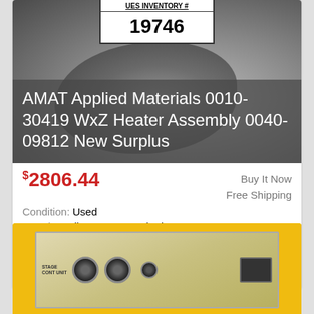[Figure (photo): Product listing image showing a UES Inventory tag with number 19746 and a heater assembly component on a gray background. White text overlay reads: AMAT Applied Materials 0010-30419 WxZ Heater Assembly 0040-09812 New Surplus]
$2806.44  Buy It Now
Free Shipping
Condition: Used
Location: Albuquerque, United States
The plastic bag is brittle and has several small openings but the heater was not unwrapped. The physical condition is great. Serial numbers or country ... more
[Figure (photo): Partial view of a second product listing with yellow background showing an electronic stage control unit panel with multiple connectors and switches]